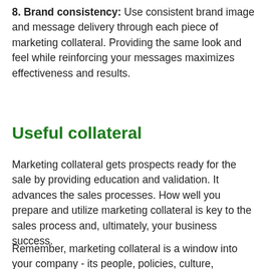8. Brand consistency: Use consistent brand image and message delivery through each piece of marketing collateral. Providing the same look and feel while reinforcing your messages maximizes effectiveness and results.
Useful collateral
Marketing collateral gets prospects ready for the sale by providing education and validation. It advances the sales processes. How well you prepare and utilize marketing collateral is key to the sales process and, ultimately, your business success.
Remember, marketing collateral is a window into your company - its people, policies, culture, business, capabilities and benefits. Make sure it's